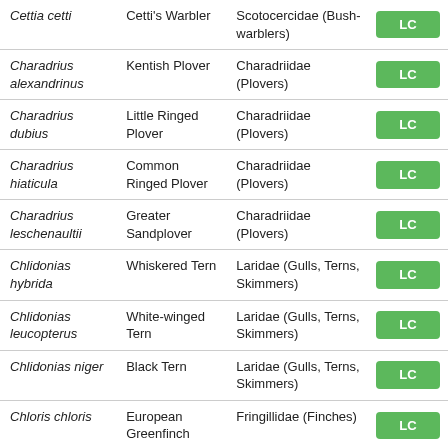| Scientific Name | Common Name | Family | Status |
| --- | --- | --- | --- |
| Cettia cetti | Cetti's Warbler | Scotocercidae (Bush-warblers) | LC |
| Charadrius alexandrinus | Kentish Plover | Charadriidae (Plovers) | LC |
| Charadrius dubius | Little Ringed Plover | Charadriidae (Plovers) | LC |
| Charadrius hiaticula | Common Ringed Plover | Charadriidae (Plovers) | LC |
| Charadrius leschenaultii | Greater Sandplover | Charadriidae (Plovers) | LC |
| Chlidonias hybrida | Whiskered Tern | Laridae (Gulls, Terns, Skimmers) | LC |
| Chlidonias leucopterus | White-winged Tern | Laridae (Gulls, Terns, Skimmers) | LC |
| Chlidonias niger | Black Tern | Laridae (Gulls, Terns, Skimmers) | LC |
| Chloris chloris | European Greenfinch | Fringillidae (Finches) | LC |
| Ciconia nigra | Black Stork | Ciconiidae (Storks) | LC |